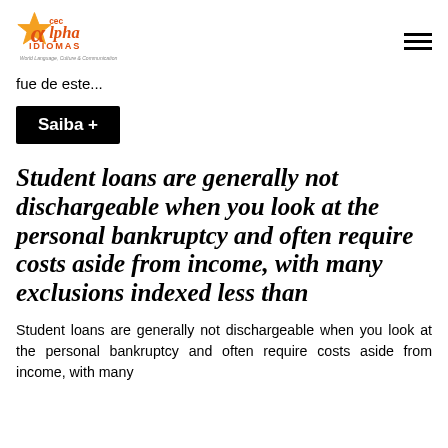cec Alpha IDIOMAS — World Language, Culture & Communication
fue de este...
Saiba +
Student loans are generally not dischargeable when you look at the personal bankruptcy and often require costs aside from income, with many exclusions indexed less than
Student loans are generally not dischargeable when you look at the personal bankruptcy and often require costs aside from income, with many exclusions indexed less than